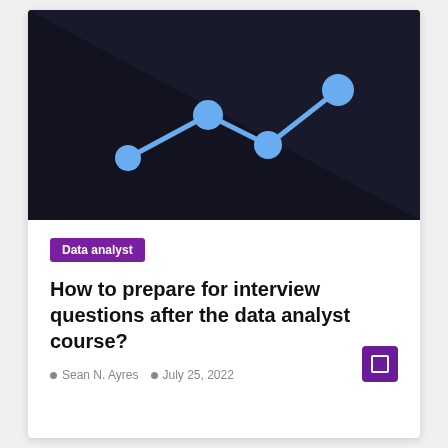[Figure (illustration): Dark navy/black background with a light blue line chart graphic showing connected data points with circular nodes going up-down-up pattern, creating a decorative hero image for the article]
Data analyst
How to prepare for interview questions after the data analyst course?
Sean N. Ayres   July 25, 2022